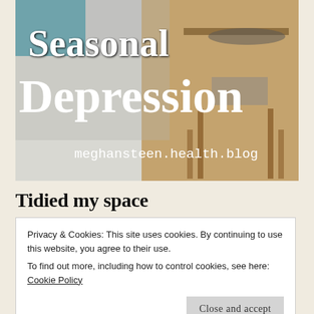[Figure (photo): Blog header image with text overlay 'Seasonal Depression' on a bedroom/furniture background, with URL meghansteen.health.blog]
Tidied my space
Privacy & Cookies: This site uses cookies. By continuing to use this website, you agree to their use.
To find out more, including how to control cookies, see here: Cookie Policy
Close and accept
that has been sitting out for a month and washed my